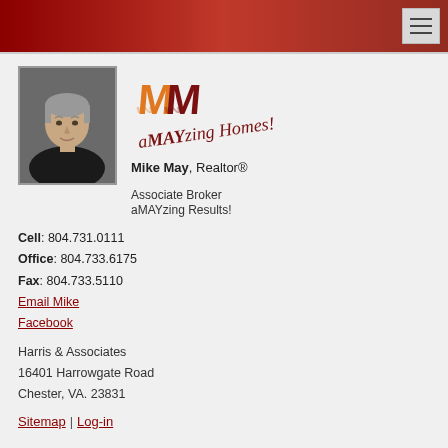[Figure (screenshot): Red gradient header bar with hamburger menu button on the right]
[Figure (photo): Headshot of Mike May, a middle-aged man with gray hair wearing a dark polo shirt]
[Figure (logo): aMAYzing Homes logo with orange/red MM monogram and cursive text]
Mike May, Realtor® Associate Broker aMAYzing Results!
Cell: 804.731.0111
Office: 804.733.6175
Fax: 804.733.5110
Email Mike
Facebook
Harris & Associates
16401 Harrowgate Road
Chester, VA. 23831
Sitemap | Log-in